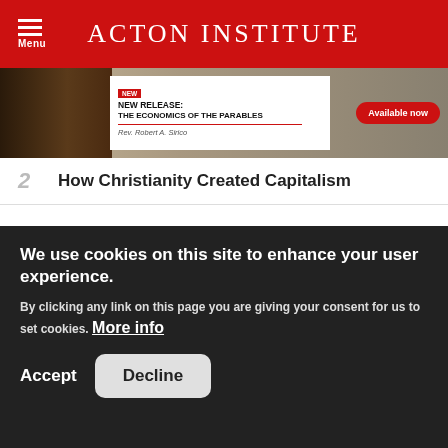Acton Institute
[Figure (photo): Advertisement banner for 'New Release: The Economics of the Parables' by Rev. Robert A. Sirico, with an 'Available now' button on a red pill background.]
2  How Christianity Created Capitalism
3  Multinational Corporations in the Third World: Predators or Allies in Economic Development?
We use cookies on this site to enhance your user experience. By clicking any link on this page you are giving your consent for us to set cookies. More info
Accept  Decline